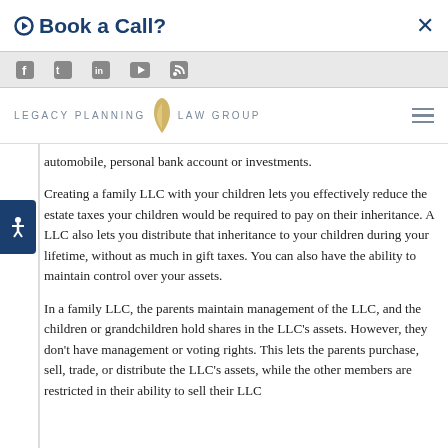Book a Call? ×
[Figure (logo): Legacy Planning Law Group logo with flame icon and social media icons bar]
automobile, personal bank account or investments.
Creating a family LLC with your children lets you effectively reduce the estate taxes your children would be required to pay on their inheritance. A LLC also lets you distribute that inheritance to your children during your lifetime, without as much in gift taxes. You can also have the ability to maintain control over your assets.
In a family LLC, the parents maintain management of the LLC, and the children or grandchildren hold shares in the LLC's assets. However, they don't have management or voting rights. This lets the parents purchase, sell, trade, or distribute the LLC's assets, while the other members are restricted in their ability to sell their LLC